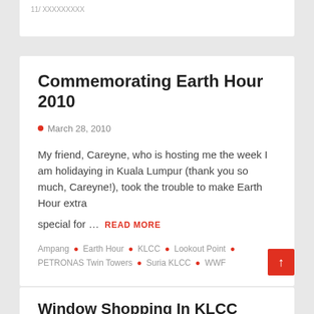Commemorating Earth Hour 2010
March 28, 2010
My friend, Careyne, who is hosting me the week I am holidaying in Kuala Lumpur (thank you so much, Careyne!), took the trouble to make Earth Hour extra special for ...
READ MORE
Ampang • Earth Hour • KLCC • Lookout Point • PETRONAS Twin Towers • Suria KLCC • WWF
Window Shopping In KLCC